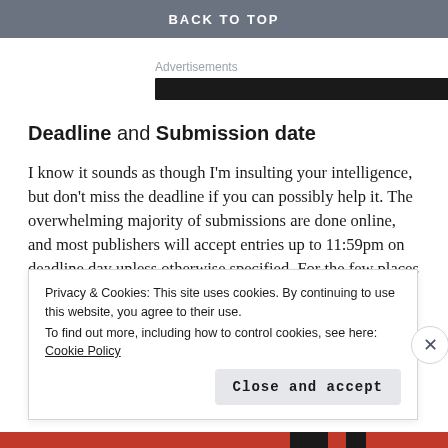BACK TO TOP
Advertisements
Deadline and Submission date
I know it sounds as though I'm insulting your intelligence, but don't miss the deadline if you can possibly help it. The overwhelming majority of submissions are done online, and most publishers will accept entries up to 11:59pm on deadline day unless otherwise specified. For the few places
Privacy & Cookies: This site uses cookies. By continuing to use this website, you agree to their use.
To find out more, including how to control cookies, see here: Cookie Policy
Close and accept